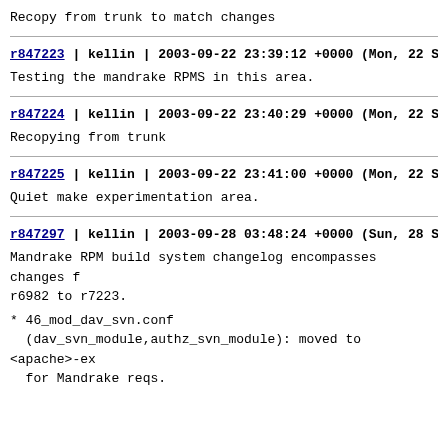Recopy from trunk to match changes
r847223 | kellin | 2003-09-22 23:39:12 +0000 (Mon, 22 Sep
Testing the mandrake RPMS in this area.
r847224 | kellin | 2003-09-22 23:40:29 +0000 (Mon, 22 Sep
Recopying from trunk
r847225 | kellin | 2003-09-22 23:41:00 +0000 (Mon, 22 Sep
Quiet make experimentation area.
r847297 | kellin | 2003-09-28 03:48:24 +0000 (Sun, 28 Sep
Mandrake RPM build system changelog encompasses changes from r6982 to r7223.
* 46_mod_dav_svn.conf
  (dav_svn_module,authz_svn_module): moved to <apache>-ex
  for Mandrake reqs.